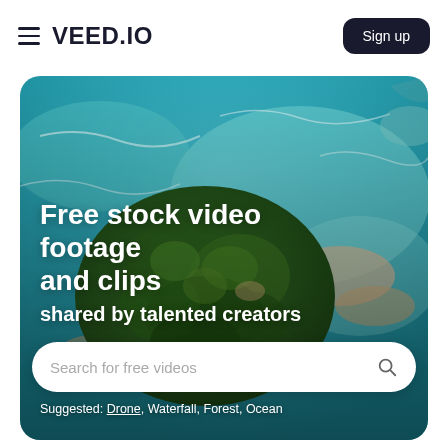VEED.IO  Sign up
[Figure (photo): Aerial drone view of a tropical island surrounded by turquoise ocean water with sandy beaches and dense green forest canopy, waves visible along the coastline]
Free stock video footage and clips
shared by talented creators
Search for free videos
Suggested: Drone, Waterfall, Forest, Ocean